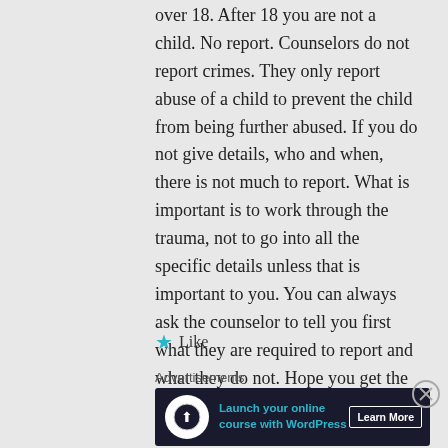over 18. After 18 you are not a child. No report. Counselors do not report crimes. They only report abuse of a child to prevent the child from being further abused. If you do not give details, who and when, there is not much to report. What is important is to work through the trauma, not to go into all the specific details unless that is important to you. You can always ask the counselor to tell you first what they are required to report and what they do not. Hope you get the help you need to get better.
Like
Advertisements
[Figure (other): Advertisement banner for WordPress online course with dark background, circular logo icon, teal text 'Launch your online course with WordPress', and 'Learn More' button]